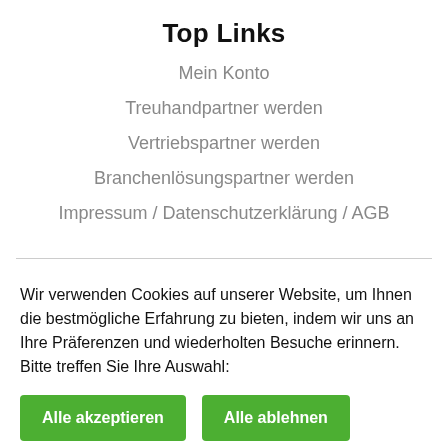Top Links
Mein Konto
Treuhandpartner werden
Vertriebspartner werden
Branchenlösungspartner werden
Impressum / Datenschutzerklärung / AGB
Wir verwenden Cookies auf unserer Website, um Ihnen die bestmögliche Erfahrung zu bieten, indem wir uns an Ihre Präferenzen und wiederholten Besuche erinnern. Bitte treffen Sie Ihre Auswahl:
Alle akzeptieren
Alle ablehnen